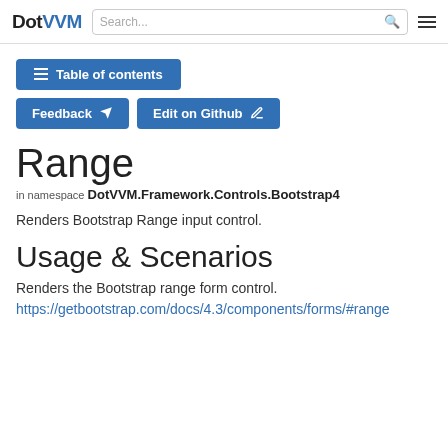DotVVM | Search...
Table of contents
Feedback   Edit on Github
Range
in namespace DotVVM.Framework.Controls.Bootstrap4
Renders Bootstrap Range input control.
Usage & Scenarios
Renders the Bootstrap range form control.
https://getbootstrap.com/docs/4.3/components/forms/#range